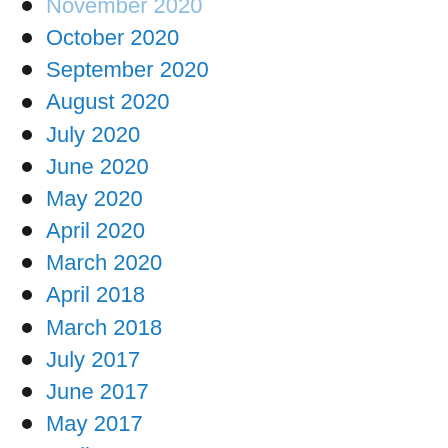November 2020
October 2020
September 2020
August 2020
July 2020
June 2020
May 2020
April 2020
March 2020
April 2018
March 2018
July 2017
June 2017
May 2017
April 2017
March 2017